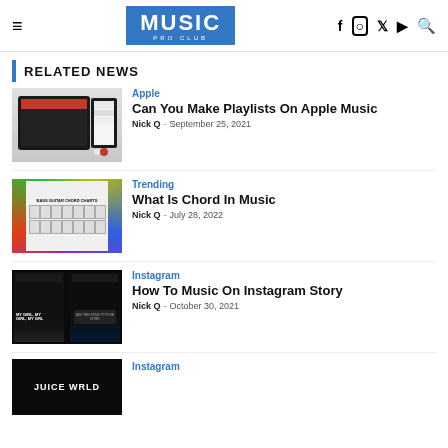MUSIC PRO CLUB — navigation header with social icons
RELATED NEWS
[Figure (screenshot): Apple Music playlist interface on tablet and phone]
Apple
Can You Make Playlists On Apple Music
Nick Q - September 25, 2021
[Figure (screenshot): Bass guitar chord diagram chart on colorful background]
Trending
What Is Chord In Music
Nick Q - July 28, 2022
[Figure (screenshot): Instagram story with music — dark background city skyline]
Instagram
How To Music On Instagram Story
Nick Q - October 30, 2021
[Figure (photo): Juice WRLD text on dark background]
Instagram